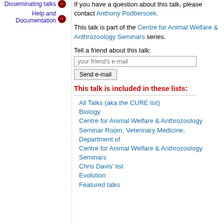Disseminating talks →
Help and Documentation →
If you have a question about this talk, please contact Anthony Podberscek.
This talk is part of the Centre for Animal Welfare & Anthrozoology Seminars series.
Tell a friend about this talk:
This talk is included in these lists:
All Talks (aka the CURE list)
Biology
Centre for Animal Welfare & Anthrozoology Seminar Room, Veterinary Medicine, Department of
Centre for Animal Welfare & Anthrozoology Seminars
Chris Davis' list
Evolution
Featured talks